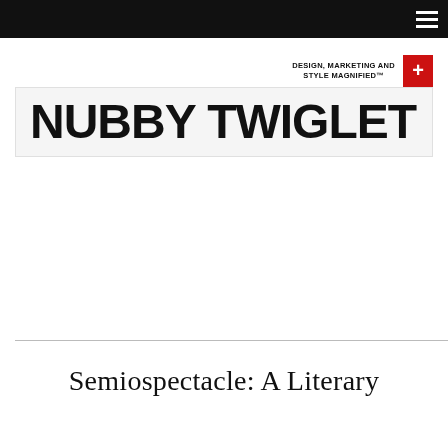☰
DESIGN, MARKETING AND STYLE MAGNIFIED™
[Figure (logo): Nubby Twiglet logo — large bold black uppercase text on light gray background]
Semiospectacle: A Literary